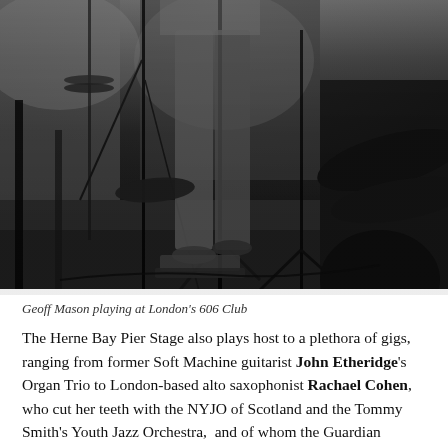[Figure (photo): Black and white photograph of Geoff Mason playing drums at London's 606 Club. The image shows a close-up low-angle view of the drum kit and the musician's legs/lower body, with cymbals visible on the right, microphone stands, and stage floor.]
Geoff Mason playing at London's 606 Club
The Herne Bay Pier Stage also plays host to a plethora of gigs, ranging from former Soft Machine guitarist John Etheridge's Organ Trio to London-based alto saxophonist Rachael Cohen, who cut her teeth with the NYJO of Scotland and the Tommy Smith's Youth Jazz Orchestra, and of whom the Guardian intriguingly observed that she plays with 'a softly deviant approach reminiscent of Lee Konitz...'